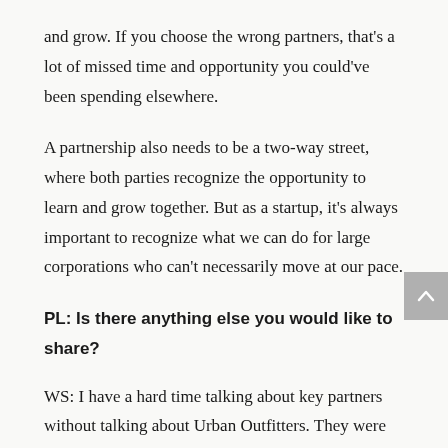and grow. If you choose the wrong partners, that's a lot of missed time and opportunity you could've been spending elsewhere.
A partnership also needs to be a two-way street, where both parties recognize the opportunity to learn and grow together. But as a startup, it's always important to recognize what we can do for large corporations who can't necessarily move at our pace.
PL: Is there anything else you would like to share?
WS: I have a hard time talking about key partners without talking about Urban Outfitters. They were one of the first brands on the platform and are consistently launch partners